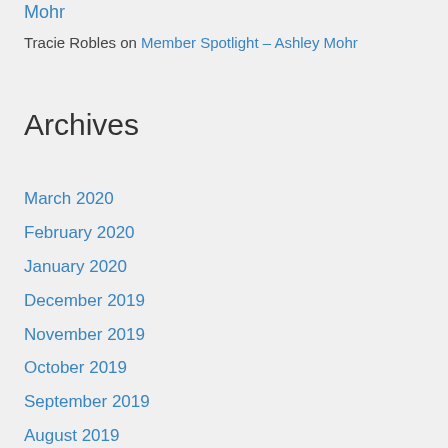Mohr
Tracie Robles on Member Spotlight – Ashley Mohr
Archives
March 2020
February 2020
January 2020
December 2019
November 2019
October 2019
September 2019
August 2019
July 2019
June 2019